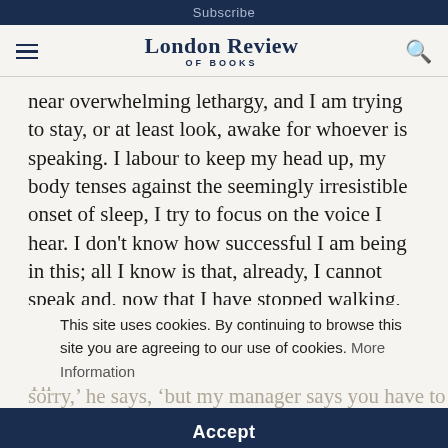Subscribe
London Review OF BOOKS
near overwhelming lethargy, and I am trying to stay, or at least look, awake for whoever is speaking. I labour to keep my head up, my body tenses against the seemingly irresistible onset of sleep, I try to focus on the voice I hear. I don’t know how successful I am being in this; all I know is that, already, I cannot speak and, now that I have stopped walking, my body is turning to lead in my chair.
This site uses cookies. By continuing to browse this site you are agreeing to our use of cookies. More Information
sorry,’ he says, ‘but my manager says you have to leave.’ I notice the hint of an accent, but I can’t place it. What I can place is the form of the
Accept